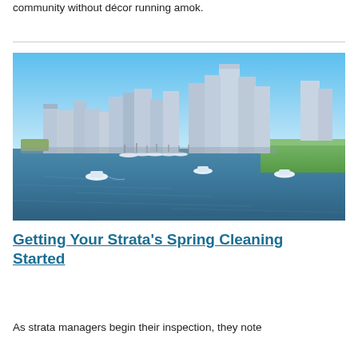community without décor running amok.
[Figure (photo): Aerial/waterfront view of a city skyline (Vancouver-style) with high-rise buildings, a marina with boats, and a park area along the waterfront under a clear blue sky.]
Getting Your Strata's Spring Cleaning Started
As strata managers begin their inspection, they note...